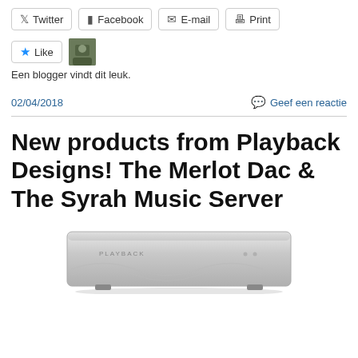[Figure (infographic): Social share buttons row: Twitter, Facebook, E-mail, Print]
[Figure (infographic): Like button with star icon and a blogger avatar thumbnail]
Een blogger vindt dit leuk.
02/04/2018
Geef een reactie
New products from Playback Designs! The Merlot Dac & The Syrah Music Server
[Figure (photo): A silver Playback Designs audio device (compact rectangular chassis with Playback branding and indicator lights on the front panel)]